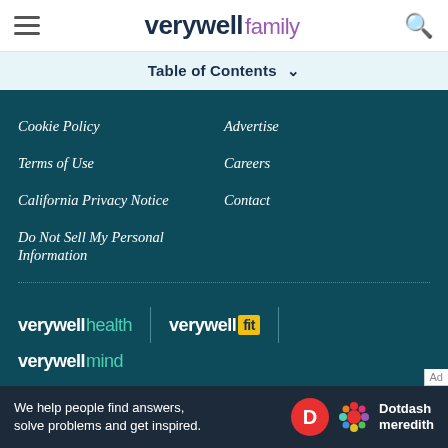verywell family
Table of Contents
Cookie Policy
Advertise
Terms of Use
Careers
California Privacy Notice
Contact
Do Not Sell My Personal Information
[Figure (logo): verywell health logo]
[Figure (logo): verywell fit logo]
[Figure (logo): verywell mind logo]
Verywell Family's content is for informational and
[Figure (logo): Dotdash Meredith ad banner: We help people find answers, solve problems and get inspired.]